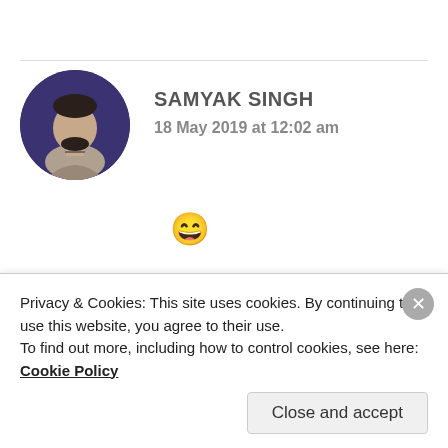[Figure (photo): Circular avatar photo of Samyak Singh - man with beard wearing grey hoodie against dark purple background]
SAMYAK SINGH
18 May 2019 at 12:02 am
😄
★ Liked by 1 person
[Figure (photo): Partial circular avatar photo of Jessica]
JESSICA
Privacy & Cookies: This site uses cookies. By continuing to use this website, you agree to their use. To find out more, including how to control cookies, see here: Cookie Policy
Close and accept